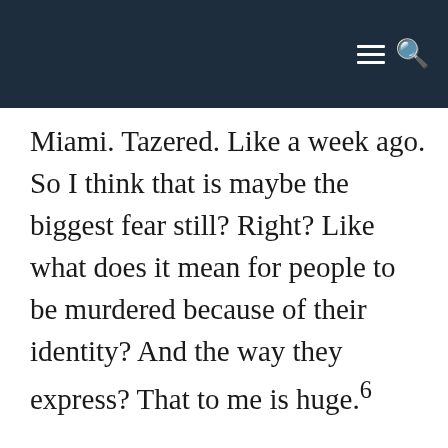Miami. Tazered. Like a week ago. So I think that is maybe the biggest fear still? Right? Like what does it mean for people to be murdered because of their identity? And the way they express? That to me is huge.⁶